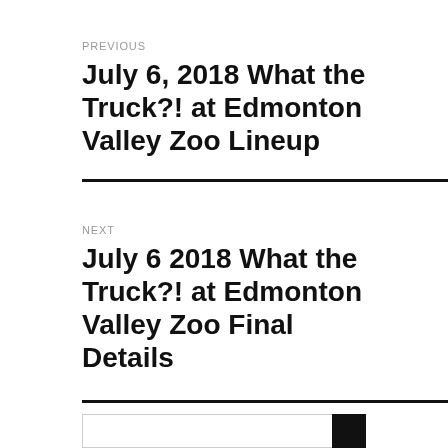PREVIOUS
July 6, 2018 What the Truck?! at Edmonton Valley Zoo Lineup
NEXT
July 6 2018 What the Truck?! at Edmonton Valley Zoo Final Details